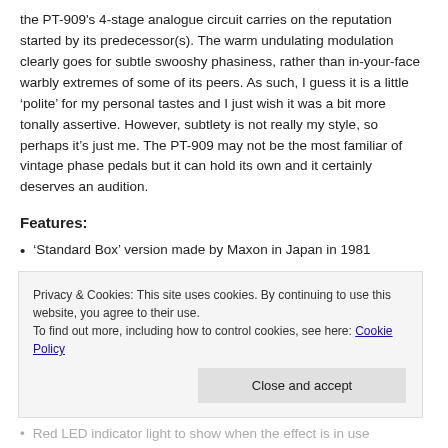the PT-909's 4-stage analogue circuit carries on the reputation started by its predecessor(s). The warm undulating modulation clearly goes for subtle swooshy phasiness, rather than in-your-face warbly extremes of some of its peers. As such, I guess it is a little ‘polite’ for my personal tastes and I just wish it was a bit more tonally assertive. However, subtlety is not really my style, so perhaps it’s just me. The PT-909 may not be the most familiar of vintage phase pedals but it can hold its own and it certainly deserves an audition.
Features:
‘Standard Box’ version made by Maxon in Japan in 1981
The ‘Speed’ knob controls the rate of the phase effect
The ‘Width’ knob controls the amount of the phase shift
Privacy & Cookies: This site uses cookies. By continuing to use this website, you agree to their use. To find out more, including how to control cookies, see here: Cookie Policy
Red LED indicator light to show when the effect is in use